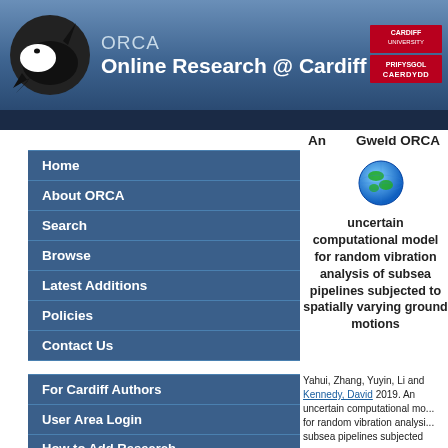ORCA Online Research @ Cardiff
Home
About ORCA
Search
Browse
Latest Additions
Policies
Contact Us
For Cardiff Authors
User Area Login
How to Add Research
An    Gweld ORCA
[Figure (illustration): Globe icon (Earth illustration)]
uncertain computational model for random vibration analysis of subsea pipelines subjected to spatially varying ground motions
Yahui, Zhang, Yuyin, Li and Kennedy, David 2019. An uncertain computational model for random vibration analysis of subsea pipelines subjected